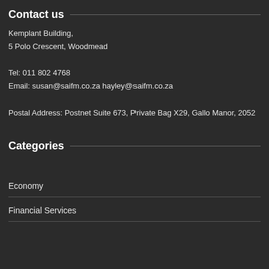Contact us
Kemplant Building,
5 Polo Crescent, Woodmead

Tel: 011 802 4768
Email: susan@saifm.co.za hayley@saifm.co.za

Postal Address: Postnet Suite 673, Private Bag X29, Gallo Manor, 2052
Categories
Economy
Financial Services